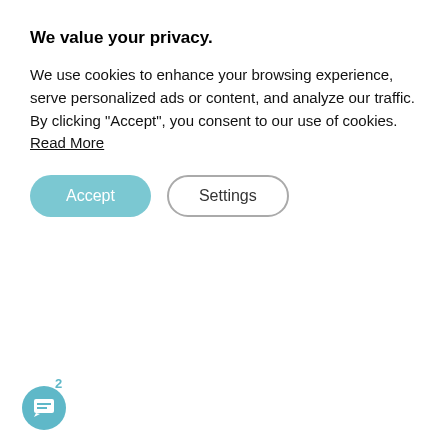We value your privacy.
We use cookies to enhance your browsing experience, serve personalized ads or content, and analyze our traffic. By clicking "Accept", you consent to our use of cookies. Read More
Cornwall. Wander around the numerous independent galleries and stop for refreshments in one of the many great eateries in this vibrant village.
Asquith's is an upmarket restaurant offering licious dishes prepared using local produce. Nearby, Annie's Comfort Food cooks up great